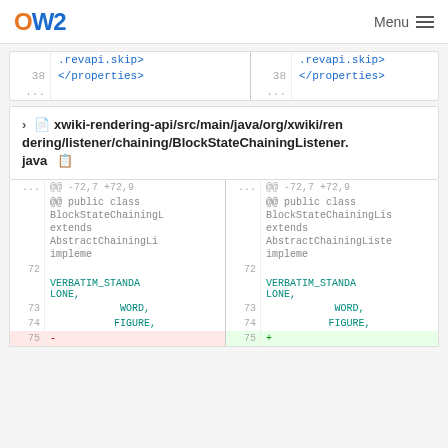OW2 | Menu
| line | code-left | line | code-right |
| --- | --- | --- | --- |
|  | .revapi.skip> |  | .revapi.skip> |
| 38 | </properties> | 38 | </properties> |
| ... |  | ... |  |
xwiki-rendering-api/src/main/java/org/xwiki/rendering/listener/chaining/BlockStateChainingListener.java
| line | code-left | line | code-right |
| --- | --- | --- | --- |
| ... | @@ -72,7 +72,9 | ... | @@ -72,7 +72,9 |
|  | @@ public class BlockStateChaining extends AbstractChainingLi impleme |  | @@ public class BlockStateChainingLis extends AbstractChainingListe impleme |
| 72 |  | 72 |  |
|  | VERBATIM_STANDALONE, |  | VERBATIM_STANDALONE, |
| 73 | WORD, | 73 | WORD, |
| 74 | FIGURE, | 74 | FIGURE, |
| 75 | - | 75 | + |